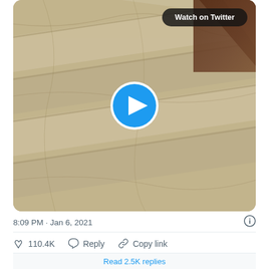[Figure (screenshot): Twitter/X embedded video thumbnail showing marble stairs viewed from above at an angle, with a dark wood railing in the upper right corner. A blue circular play button is centered on the thumbnail. A 'Watch on Twitter' button appears in the upper right of the thumbnail.]
8:09 PM · Jan 6, 2021
♡ 110.4K   Reply   Copy link